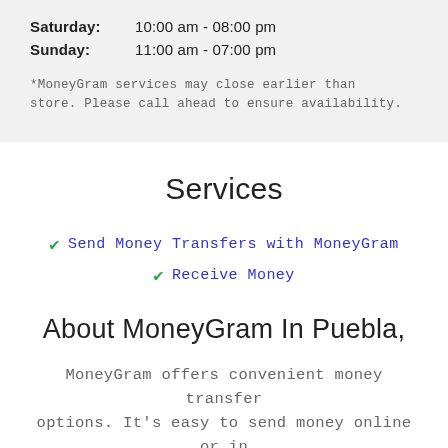Saturday:   10:00 am - 08:00 pm
Sunday:   11:00 am - 07:00 pm
*MoneyGram services may close earlier than store. Please call ahead to ensure availability.
Services
Send Money Transfers with MoneyGram
Receive Money
About MoneyGram In Puebla,
MoneyGram offers convenient money transfer options. It's easy to send money online or in